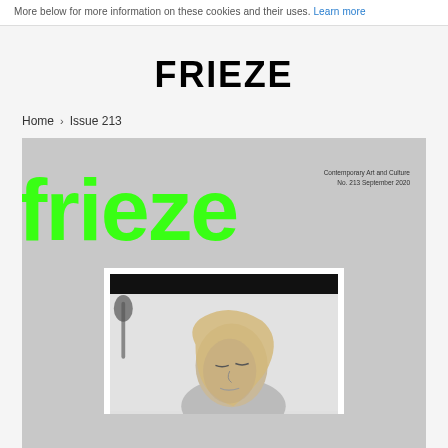More below for more information on these cookies and their uses. Learn more
FRIEZE
Home › Issue 213
[Figure (illustration): Frieze magazine Issue 213 cover. Light grey background with large bright green 'frieze' logotype. Upper right reads 'Contemporary Art and Culture / No. 213 September 2020'. A white-bordered inner card contains a black bar at top and a black-and-white photograph of a woman with blonde hair, eyes closed, looking downward.]